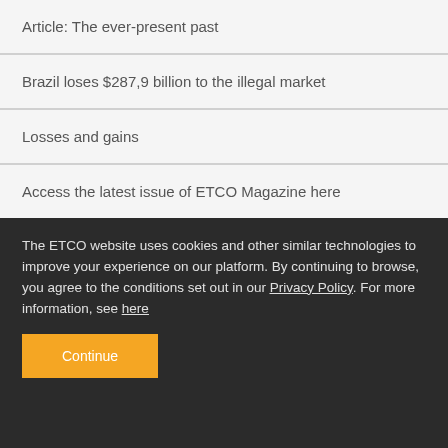Article: The ever-present past
Brazil loses $287,9 billion to the illegal market
Losses and gains
Access the latest issue of ETCO Magazine here
RELATED
The ETCO website uses cookies and other similar technologies to improve your experience on our platform. By continuing to browse, you agree to the conditions set out in our Privacy Policy. For more information, see here